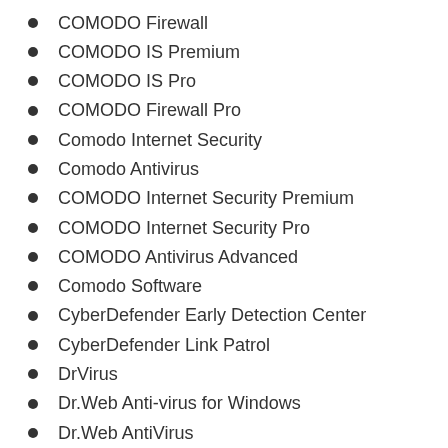COMODO Firewall
COMODO IS Premium
COMODO IS Pro
COMODO Firewall Pro
Comodo Internet Security
Comodo Antivirus
COMODO Internet Security Premium
COMODO Internet Security Pro
COMODO Antivirus Advanced
Comodo Software
CyberDefender Early Detection Center
CyberDefender Link Patrol
DrVirus
Dr.Web Anti-virus for Windows
Dr.Web AntiVirus
Dr.Web Anti-Virus for Windows Pro
Dr.Web AntiVirus for Windows Servers
Dr.Web CommuniGate Plugin
Dr.Web Enterprise Agent